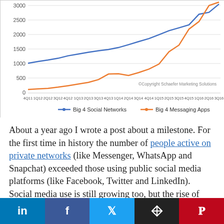[Figure (line-chart): ]
About a year ago I wrote a post about a milestone. For the first time in history the number of people active on private networks (like Messenger, WhatsApp and Snapchat) exceeded those using public social media platforms (like Facebook, Twitter and LinkedIn). Social media use is still growing too, but the rise of those
in f t [layers] p